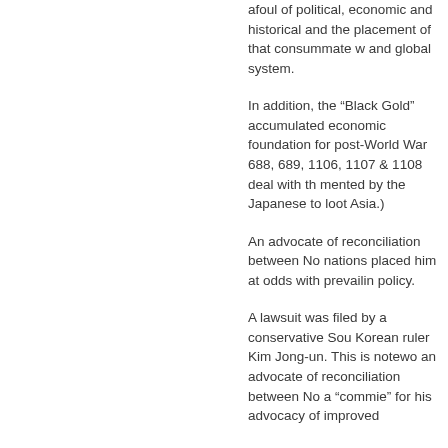afoul of political, economic and historical and the placement of that consummate w and global system.
In addition, the “Black Gold” accumulated economic foundation for post-World War 688, 689, 1106, 1107 & 1108 deal with th mented by the Japanese to loot Asia.)
An advocate of reconciliation between No nations placed him at odds with prevailin policy.
A lawsuit was filed by a conservative Sou Korean ruler Kim Jong-un. This is notewo an advocate of reconciliation between No a “commie” for his advocacy of improved
Relations between the Koreas are very m
Much of the program details the centuries 1905 colonization of that country. In 1910 thereby denominating all material and cu
The bulk of the program consists of a his